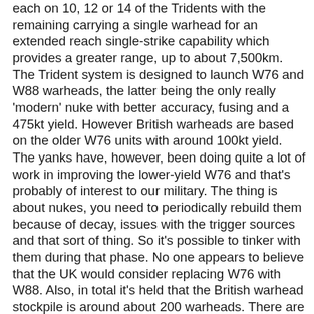each on 10, 12 or 14 of the Tridents with the remaining carrying a single warhead for an extended reach single-strike capability which provides a greater range, up to about 7,500km. The Trident system is designed to launch W76 and W88 warheads, the latter being the only really 'modern' nuke with better accuracy, fusing and a 475kt yield. However British warheads are based on the older W76 units with around 100kt yield. The yanks have, however, been doing quite a lot of work in improving the lower-yield W76 and that's probably of interest to our military. The thing is about nukes, you need to periodically rebuild them because of decay, issues with the trigger sources and that sort of thing. So it's possible to tinker with them during that phase. No one appears to believe that the UK would consider replacing W76 with W88. Also, in total it's held that the British warhead stockpile is around about 200 warheads. There are enough Trident II D5 missiles to fully load about three boats but then since only one SSBN is on patrol at any one time, that's considerably redundancy. In times of heightened alert, it's expected two SSBNs would be on patrol and, surprisingly, the patrols are coordinated with the French, not the Americans. One